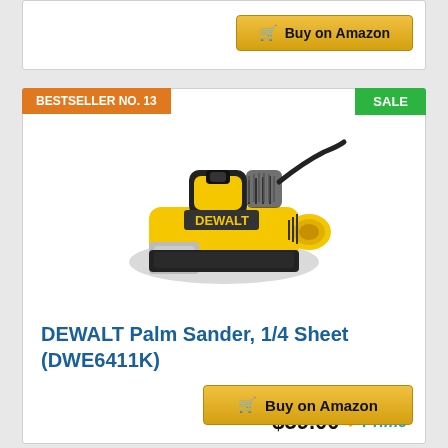[Figure (screenshot): Top portion of a product card with Buy on Amazon button]
BESTSELLER NO. 13
SALE
[Figure (photo): DEWALT Palm Sander DWE6411K product photo - yellow and black palm sander]
DEWALT Palm Sander, 1/4 Sheet (DWE6411K)
$59.00 Prime
Buy on Amazon